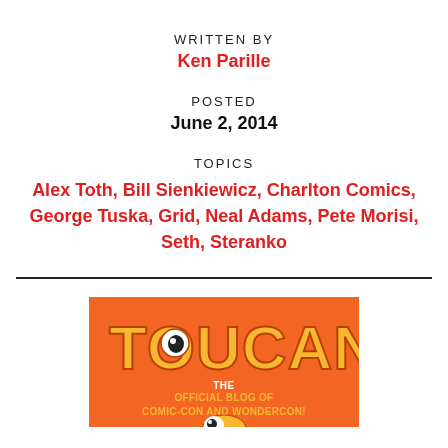WRITTEN BY
Ken Parille
POSTED
June 2, 2014
TOPICS
Alex Toth, Bill Sienkiewicz, Charlton Comics, George Tuska, Grid, Neal Adams, Pete Morisi, Seth, Steranko
[Figure (logo): TOUCAN - The Official Blog of Comic-Con and WonderCon logo on orange background with yellow text]